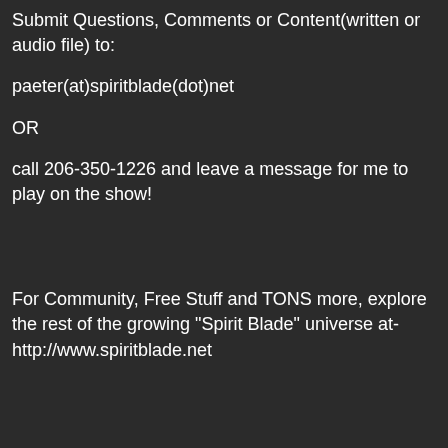Submit Questions, Comments or Content(written or audio file) to:
paeter(at)spiritblade(dot)net
OR
call 206-350-1226 and leave a message for me to play on the show!
For Community, Free Stuff and TONS more, explore the rest of the growing "Spirit Blade" universe at- http://www.spiritblade.net